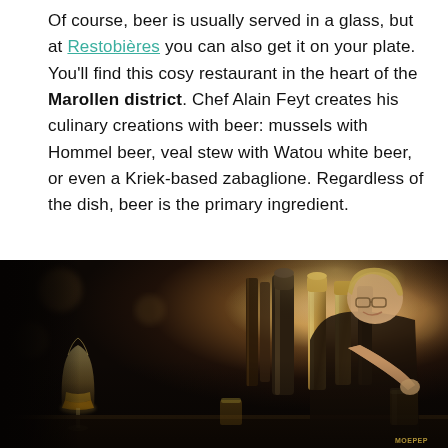Of course, beer is usually served in a glass, but at Restobières you can also get it on your plate. You'll find this cosy restaurant in the heart of the Marollen district. Chef Alain Feyt creates his culinary creations with beer: mussels with Hommel beer, veal stew with Watou white beer, or even a Kriek-based zabaglione. Regardless of the dish, beer is the primary ingredient.
[Figure (photo): A smiling female bartender with short blonde hair and glasses pouring beer at a bar, with multiple golden beer taps in the foreground and warm bokeh lighting in the background.]